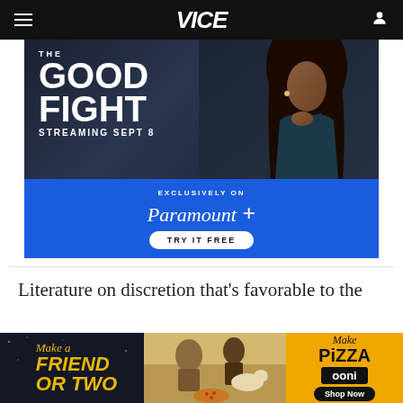VICE
[Figure (advertisement): The Good Fight streaming Sept 8 - Exclusively on Paramount+, Try It Free advertisement]
Literature on discretion that's favorable to the
[Figure (advertisement): Make a Friend or Two / Make Pizza - Ooni advertisement]